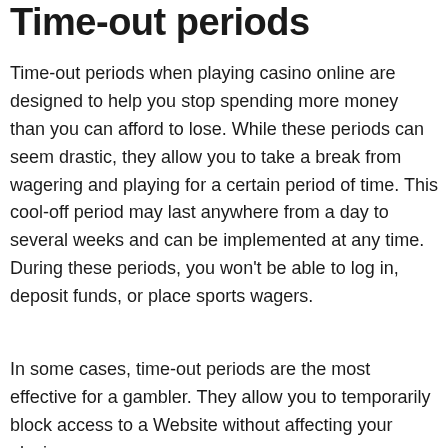Time-out periods
Time-out periods when playing casino online are designed to help you stop spending more money than you can afford to lose. While these periods can seem drastic, they allow you to take a break from wagering and playing for a certain period of time. This cool-off period may last anywhere from a day to several weeks and can be implemented at any time. During these periods, you won't be able to log in, deposit funds, or place sports wagers.
In some cases, time-out periods are the most effective for a gambler. They allow you to temporarily block access to a Website without affecting your playing